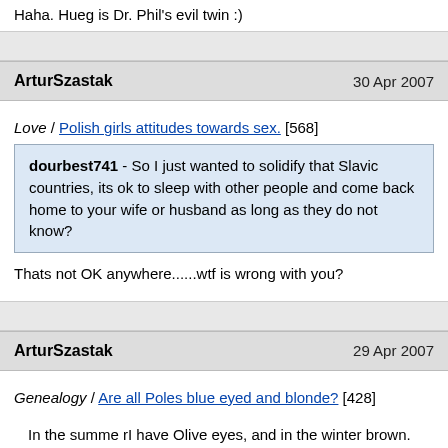Haha. Hueg is Dr. Phil's evil twin :)
ArturSzastak   30 Apr 2007
Love / Polish girls attitudes towards sex. [568]
dourbest741 - So I just wanted to solidify that Slavic countries, its ok to sleep with other people and come back home to your wife or husband as long as they do not know?
Thats not OK anywhere......wtf is wrong with you?
ArturSzastak   29 Apr 2007
Genealogy / Are all Poles blue eyed and blonde? [428]
In the summe rI have Olive eyes, and in the winter brown. My hair also goes from Dirty blonde to straight brown :)